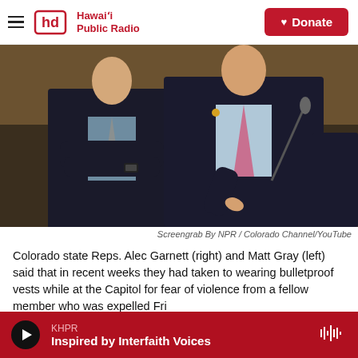Hawai'i Public Radio — Donate
[Figure (photo): Two men in dark suits standing at a legislative podium. The man on the right wears a pink tie and is pointing downward; the man on the left has his arms crossed and wears a gray tie.]
Screengrab By NPR / Colorado Channel/YouTube
Colorado state Reps. Alec Garnett (right) and Matt Gray (left) said that in recent weeks they had taken to wearing bulletproof vests while at the Capitol for fear of violence from a fellow member who was expelled Fri...
KHPR — Inspired by Interfaith Voices